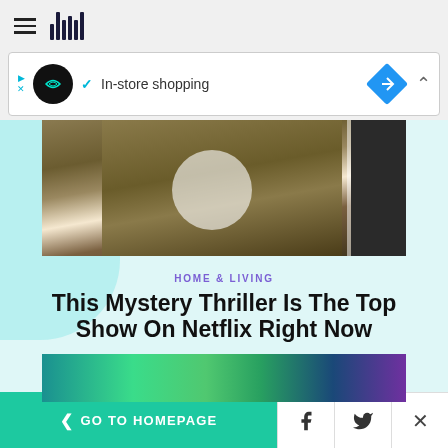HuffPost navigation bar with hamburger menu and logo
[Figure (screenshot): Advertisement banner showing In-store shopping with infinity loop icon, blue diamond navigation icon, and checkmark]
[Figure (photo): Woman in olive/brown suede jacket with braid, holding a smartphone, standing near a car]
HOME & LIVING
This Mystery Thriller Is The Top Show On Netflix Right Now
[Figure (photo): Partial image of colorful artwork with teal/green tones at bottom of content area]
< GO TO HOMEPAGE | Facebook share | Twitter share | Close